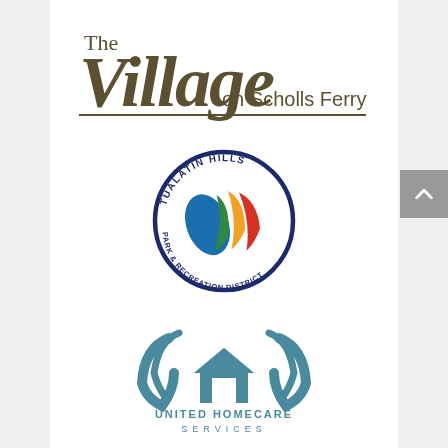[Figure (logo): The Village on Scholls Ferry logo — stylized script 'Village' in olive/brown with 'The' above and 'on Scholls Ferry' in sans-serif, underlined]
[Figure (logo): Tualatin Hills Park & Recreation District circular logo with colorful leaf/flame graphic inside a dark blue circle border with text around the perimeter]
[Figure (logo): United Homecare Services logo — teal hands cupping a house icon above text UNITED HOMECARE SERVICES in teal]
[Figure (logo): Canfield Place logo in olive green small-caps serif font]